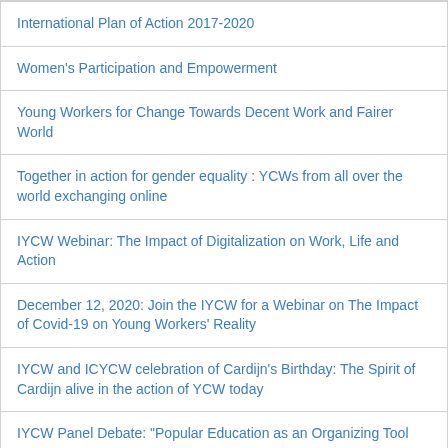International Plan of Action 2017-2020
Women's Participation and Empowerment
Young Workers for Change Towards Decent Work and Fairer World
Together in action for gender equality : YCWs from all over the world exchanging online
IYCW Webinar: The Impact of Digitalization on Work, Life and Action
December 12, 2020: Join the IYCW for a Webinar on The Impact of Covid-19 on Young Workers' Reality
IYCW and ICYCW celebration of Cardijn's Birthday: The Spirit of Cardijn alive in the action of YCW today
IYCW Panel Debate: "Popular Education as an Organizing Tool
IYCW International Seminar, Bandung, Indonesia - August